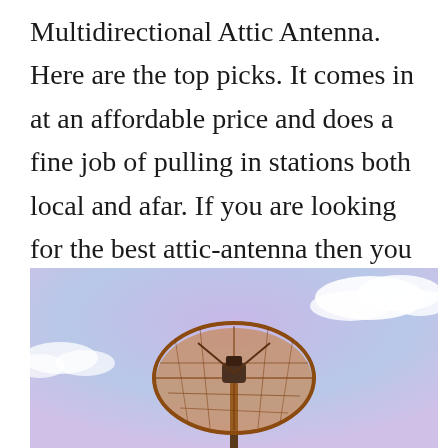Multidirectional Attic Antenna. Here are the top picks. It comes in at an affordable price and does a fine job of pulling in stations both local and afar. If you are looking for the best attic-antenna then you most likely have checked it out on numerous places online.
[Figure (photo): A satellite dish antenna photographed from below against a purple-tinted sky with white clouds. The dish is orange/brown colored with a mesh structure.]